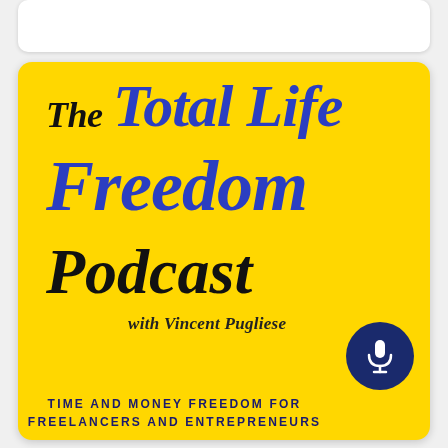[Figure (logo): The Total Life Freedom Podcast logo on a yellow background with text and microphone icon. Title reads 'The Total Life Freedom Podcast with Vincent Pugliese'. Tagline: 'TIME AND MONEY FREEDOM FOR FREELANCERS AND ENTREPRENEURS']